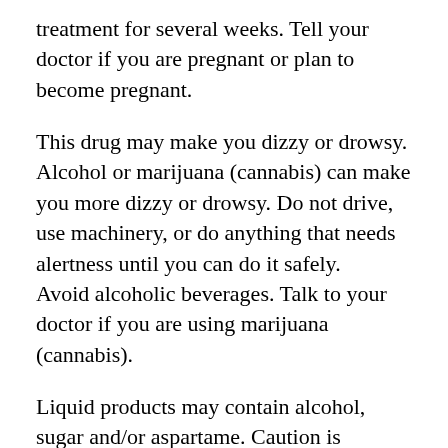treatment for several weeks. Tell your doctor if you are pregnant or plan to become pregnant.
This drug may make you dizzy or drowsy. Alcohol or marijuana (cannabis) can make you more dizzy or drowsy. Do not drive, use machinery, or do anything that needs alertness until you can do it safely.
Avoid alcoholic beverages. Talk to your doctor if you are using marijuana (cannabis).
Liquid products may contain alcohol, sugar and/or aspartame. Caution is advised if you have diabetes, alcohol dependence, liver disease, phenylketonuria (PKU), or any other condition that requires you